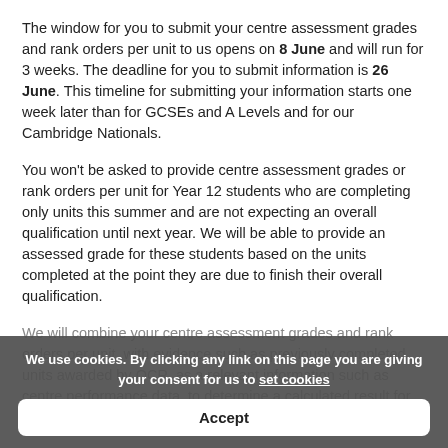The window for you to submit your centre assessment grades and rank orders per unit to us opens on 8 June and will run for 3 weeks. The deadline for you to submit information is 26 June. This timeline for submitting your information starts one week later than for GCSEs and A Levels and for our Cambridge Nationals.
You won't be asked to provide centre assessment grades or rank orders per unit for Year 12 students who are completing only units this summer and are not expecting an overall qualification until next year. We will be able to provide an assessed grade for these students based on the units completed at the point they are due to finish their overall qualification.
We will combine your centre assessment grades and rank orders per unit, with evidence such as previously completed units awarded by OCR, as a relevant information such as centre performance data, to determine a calculated result for... process is subject to the outcome of our regulator's
We use cookies. By clicking any link on this page you are giving your consent for us to set cookies
Accept